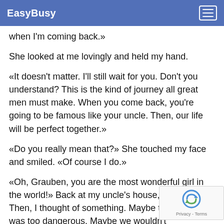EasyBusy
when I'm coming back.»
She looked at me lovingly and held my hand.
«It doesn't matter. I'll still wait for you. Don't you understand? This is the kind of journey all great men must make. When you come back, you're going to be famous like your uncle. Then, our life will be perfect together.»
«Do you really mean that?» She touched my face and smiled. «Of course I do.»
«Oh, Grauben, you are the most wonderful girl in the world!» Back at my uncle's house, I felt excited. Then, I thought of something. Maybe this adventure was too dangerous. Maybe we wouldn't come — ran into the library where my uncle was. «Uncl— possible that we won't come back from this journey?»